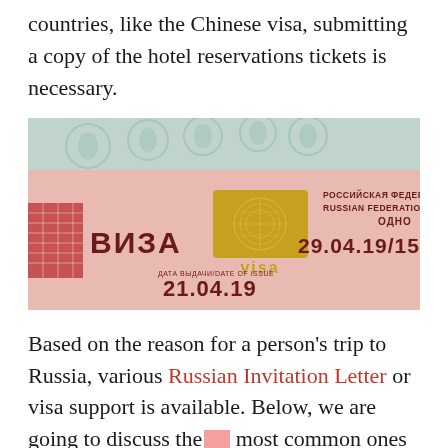countries, like the Chinese visa, submitting a copy of the hotel reservations tickets is necessary.
[Figure (photo): Close-up photograph of a Russian Federation visa document showing Cyrillic text ВИЗА, gold visa logo, text РОССИЙСКАЯ ФЕДЕРАЦИЯ / RUSSIAN FEDERATION, and dates 29.04.19/15.05 and 21.04.19]
Based on the reason for a person's trip to Russia, various Russian Invitation Letter or visa support is available. Below, we are going to discuss the most common ones among these.